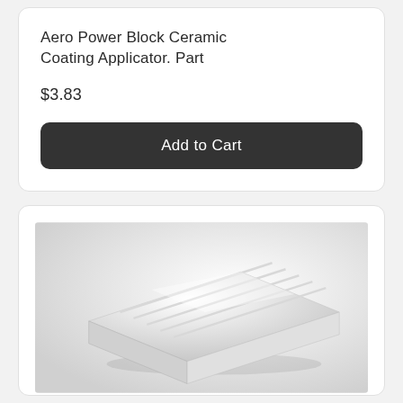Aero Power Block Ceramic Coating Applicator. Part
$3.83
Add to Cart
[Figure (photo): White ceramic coating applicator block product on a white background, showing a rectangular foam/sponge block from an angled top-down perspective with visible ridges or grooves on the surface.]